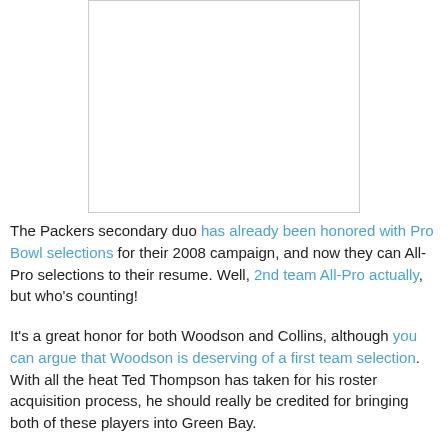[Figure (photo): White/blank image placeholder with light gray border]
The Packers secondary duo has already been honored with Pro Bowl selections for their 2008 campaign, and now they can All-Pro selections to their resume. Well, 2nd team All-Pro actually, but who's counting!

It's a great honor for both Woodson and Collins, although you can argue that Woodson is deserving of a first team selection. With all the heat Ted Thompson has taken for his roster acquisition process, he should really be credited for bringing both of these players into Green Bay.